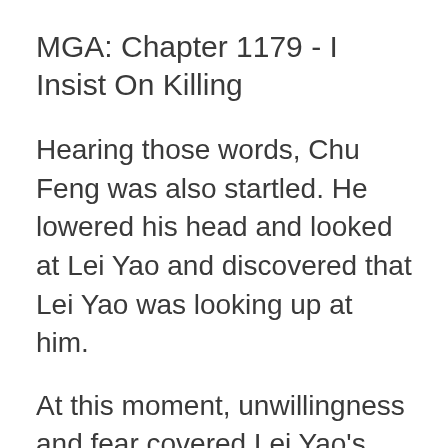MGA: Chapter 1179 - I Insist On Killing
Hearing those words, Chu Feng was also startled. He lowered his head and looked at Lei Yao and discovered that Lei Yao was looking up at him.
At this moment, unwillingness and fear covered Lei Yao’s face. All kinds of emotions were contained within the gaze with